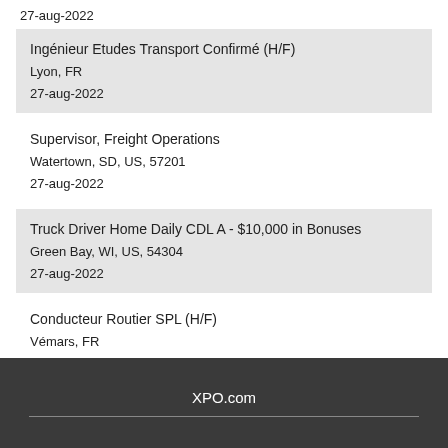27-aug-2022
Ingénieur Etudes Transport Confirmé (H/F)
Lyon, FR
27-aug-2022
Supervisor, Freight Operations
Watertown, SD, US, 57201
27-aug-2022
Truck Driver Home Daily CDL A - $10,000 in Bonuses
Green Bay, WI, US, 54304
27-aug-2022
Conducteur Routier SPL (H/F)
Vémars, FR
27-aug-2022
XPO.com